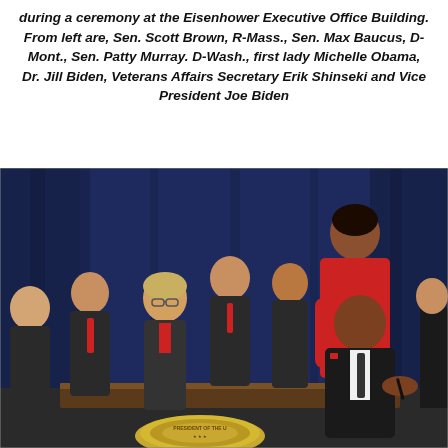during a ceremony at the Eisenhower Executive Office Building. From left are, Sen. Scott Brown, R-Mass., Sen. Max Baucus, D-Mont., Sen. Patty Murray. D-Wash., first lady Michelle Obama, Dr. Jill Biden, Veterans Affairs Secretary Erik Shinseki and Vice President Joe Biden
[Figure (photo): Group photo at a signing ceremony. President Obama is seated at a desk signing a document. Michelle Obama in a red outfit leans over him from behind. Several senators and officials stand in the background against a blue draped backdrop. A presidential seal podium is visible at the bottom.]